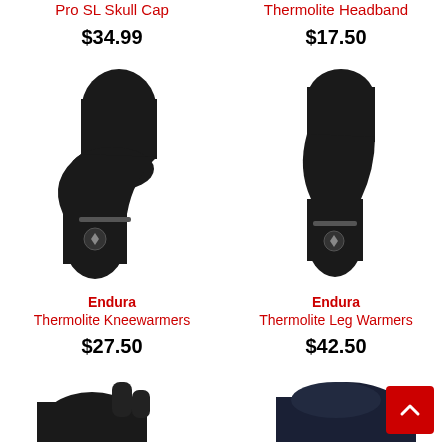Pro SL Skull Cap
$34.99
Thermolite Headband
$17.50
[Figure (photo): Black Endura Thermolite Kneewarmers cycling accessory on white background]
Endura
Thermolite Kneewarmers
$27.50
[Figure (photo): Black Endura Thermolite Leg Warmers cycling accessory on white background]
Endura
Thermolite Leg Warmers
$42.50
[Figure (photo): Black cycling glove, partially visible at bottom left]
[Figure (photo): Dark navy blue cycling garment, partially visible at bottom right]